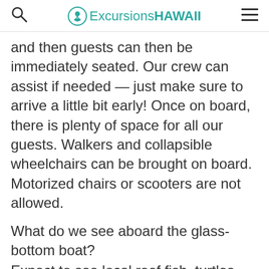ExcursionsHAWAII
and then guests can then be immediately seated. Our crew can assist if needed — just make sure to arrive a little bit early! Once on board, there is plenty of space for all our guests. Walkers and collapsible wheelchairs can be brought on board. Motorized chairs or scooters are not allowed.
What do we see aboard the glass-bottom boat?
Expect to see local reef fish, turtles, eels, beautiful living reef formations,